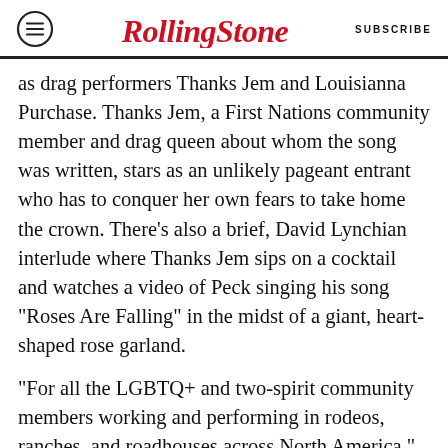RollingStone | SUBSCRIBE
as drag performers Thanks Jem and Louisianna Purchase. Thanks Jem, a First Nations community member and drag queen about whom the song was written, stars as an unlikely pageant entrant who has to conquer her own fears to take home the crown. There’s also a brief, David Lynchian interlude where Thanks Jem sips on a cocktail and watches a video of Peck singing his song “Roses Are Falling” in the midst of a giant, heart-shaped rose garland.
“For all the LGBTQ+ and two-spirit community members working and performing in rodeos, ranches, and roadhouses across North America,” reads a caption that concludes the “Queen of the Rodeo” video.